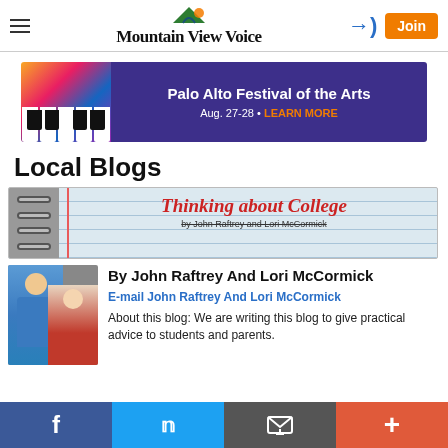Mountain View Voice
[Figure (screenshot): Advertisement banner for Palo Alto Festival of the Arts, Aug. 27-28, with learn more link]
Local Blogs
[Figure (illustration): Thinking about College blog banner by John Raftrey and Lori McCormick, notebook paper style with spiral binding]
By John Raftrey And Lori McCormick
E-mail John Raftrey And Lori McCormick
About this blog: We are writing this blog to give practical advice to students and parents.
Facebook | Twitter | Email | More